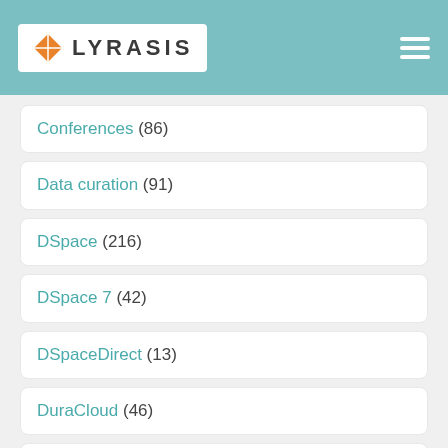LYRASIS
Conferences (86)
Data curation (91)
DSpace (216)
DSpace 7 (42)
DSpaceDirect (13)
DuraCloud (46)
DuraSpace (370)
DuraSpace digest (346)
education (5)